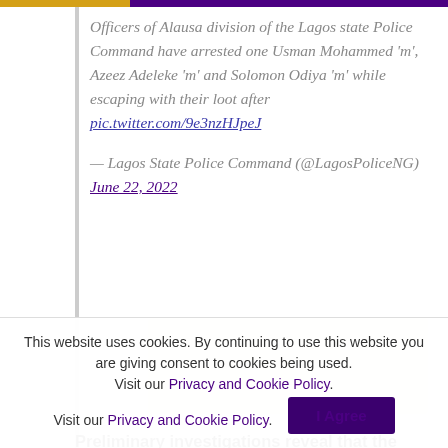Officers of Alausa division of the Lagos state Police Command have arrested one Usman Mohammed 'm', Azeez Adeleke 'm' and Solomon Odiya 'm' while escaping with their loot after pic.twitter.com/9e3nzHJpeJ

— Lagos State Police Command (@LagosPoliceNG) June 22, 2022
[Figure (photo): Embedded image placeholder (cream/beige background rectangle representing an embedded tweet image)]
Preliminary investigations reveal that the suspects have previously operated in the area a couple of times...
This website uses cookies. By continuing to use this website you are giving consent to cookies being used. Visit our Privacy and Cookie Policy.